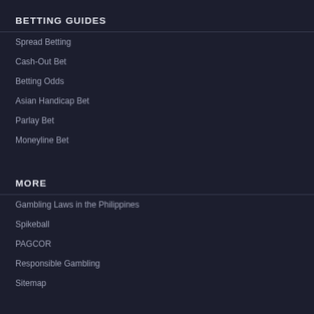BETTING GUIDES
Spread Betting
Cash-Out Bet
Betting Odds
Asian Handicap Bet
Parlay Bet
Moneyline Bet
MORE
Gambling Laws in the Philippines
Spikeball
PAGCOR
Responsible Gambling
Sitemap